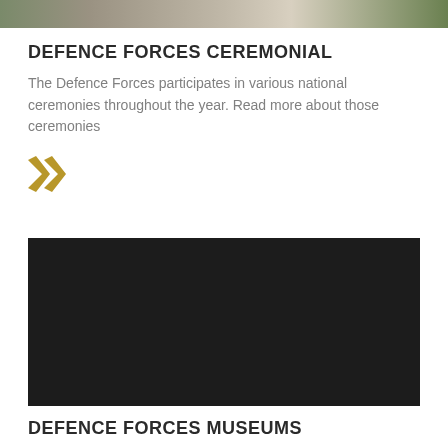[Figure (photo): Partial photo of Defence Forces personnel at a ceremonial event, cropped at top of page]
DEFENCE FORCES CEREMONIAL
The Defence Forces participates in various national ceremonies throughout the year. Read more about those ceremonies
[Figure (other): Gold double chevron/arrow link icon]
[Figure (photo): Dark/black image placeholder for Defence Forces Museums section]
DEFENCE FORCES MUSEUMS